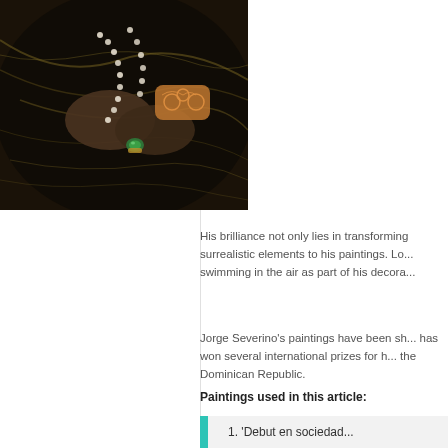[Figure (photo): Close-up painting detail showing hands with jewelry including pearl necklace and a decorative gold/copper bracelet with a green gemstone ring, against a dark swirling background]
His brilliance not only lies in transforming surrealistic elements to his paintings. Lo... swimming in the air as part of his decora...
Jorge Severino's paintings have been sh... has won several international prizes for h... the Dominican Republic.
Paintings used in this article:
1. 'Debut en sociedad...